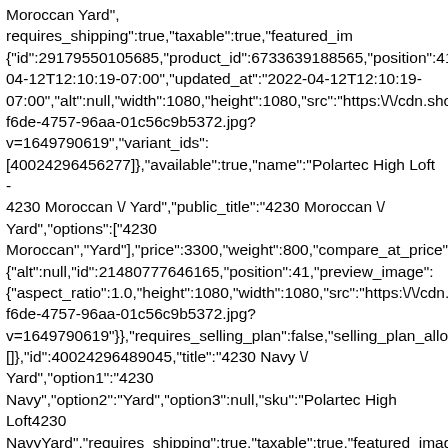Moroccan Yard", requires_shipping":true,"taxable":true,"featured_image":{"id":29179550105685,"product_id":6733639188565,"position":41, 04-12T12:10:19-07:00","updated_at":"2022-04-12T12:10:19-07:00","alt":null,"width":1080,"height":1080,"src":"https:\/\/cdn.sho f6de-4757-96aa-01c56c9b5372.jpg?v=1649790619","variant_ids":[40024296456277]},"available":true,"name":"Polartec High Loft - 4230 Moroccan \/ Yard","public_title":"4230 Moroccan \/ Yard","options":["4230 Moroccan","Yard"],"price":3300,"weight":800,"compare_at_price":n {"alt":null,"id":21480777646165,"position":41,"preview_image":{"aspect_ratio":1.0,"height":1080,"width":1080,"src":"https:\/\/cdn.s f6de-4757-96aa-01c56c9b5372.jpg?v=1649790619"}},"requires_selling_plan":false,"selling_plan_alloca []},{"id":40024296489045,"title":"4230 Navy \/ Yard","option1":"4230 Navy","option2":"Yard","option3":null,"sku":"Polartec High Loft4230 NavyYard","requires_shipping":true,"taxable":true,"featured_image": {"id":29179549974613,"product_id":6733639188565,"position":39, 04-12T12:10:02-07:00","updated_at":"2022-04-12T12:10:02-07:00","alt":null,"width":1080,"height":1080,"src":"https:\/\/cdn.sho v=1649790602","variant_ids":[40024296489045]},"available":true,"name":"Polartec High Loft - 4230 Navy \/ Yard","public_title":"4230 Navy \/ Yard","options":["4230 Navy","Yard"],"price":3300,"weight":800,"compare_at_price":n